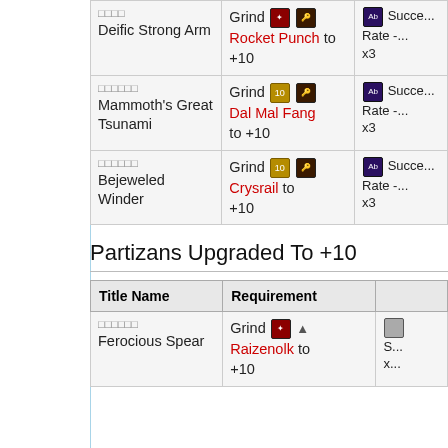| Title Name | Requirement | Effect |
| --- | --- | --- |
| □□□□
Deific Strong Arm | Grind [icon] [icon] Rocket Punch to +10 | [icon] Ab... Succe... Rate -... x3 |
| □□□□□□
Mammoth's Great Tsunami | Grind [icon] [icon] Dal Mal Fang to +10 | [icon] Ab... Succe... Rate -... x3 |
| □□□□□□
Bejeweled Winder | Grind [icon] [icon] Crysrail to +10 | [icon] Ab... Succe... Rate -... x3 |
Partizans Upgraded To +10
| Title Name | Requirement |  |
| --- | --- | --- |
| □□□□□□
Ferocious Spear | Grind [icon] [icon] Raizenolk to +10 | x... |